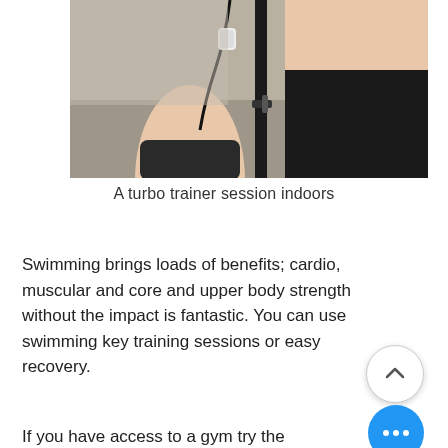[Figure (photo): Close-up photo of a person's legs on a turbo trainer indoors, with a bicycle frame visible. The person is wearing black shorts and the wall/floor are visible in the background.]
A turbo trainer session indoors
Swimming brings loads of benefits; cardio, muscular and core and upper body strength without the impact is fantastic. You can use swimming key training sessions or easy recovery.
If you have access to a gym try the